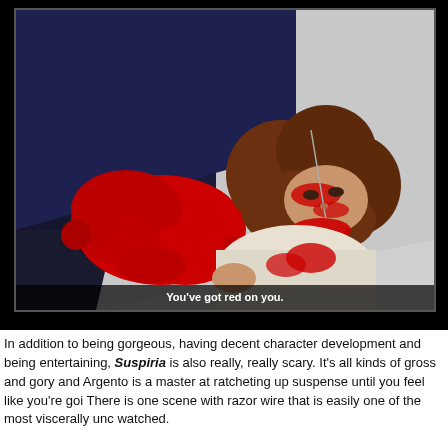[Figure (photo): A film still from Suspiria showing a woman lying on the ground covered in bright red blood, with a blade/wire near her face. Large red blood splatter on the floor beside her. The image is framed as a film screenshot with a dark border. Caption reads: You've got red on you.]
You've got red on you.
In addition to being gorgeous, having decent character development and being entertaining, Suspiria is also really, really scary. It's all kinds of gross and gory and Argento is a master at ratcheting up suspense until you feel like you're goi There is one scene with razor wire that is easily one of the most viscerally unc watched.